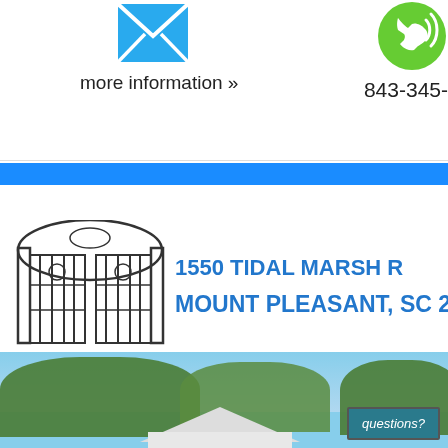[Figure (illustration): Blue envelope/email icon]
more information »
[Figure (illustration): Green phone icon with sound waves]
843-345-
[Figure (illustration): Iron gate / ornamental gate logo]
1550 TIDAL MARSH R
MOUNT PLEASANT, SC 29
[Figure (photo): Exterior photo of a house with trees and blue sky, with a 'questions?' button overlay]